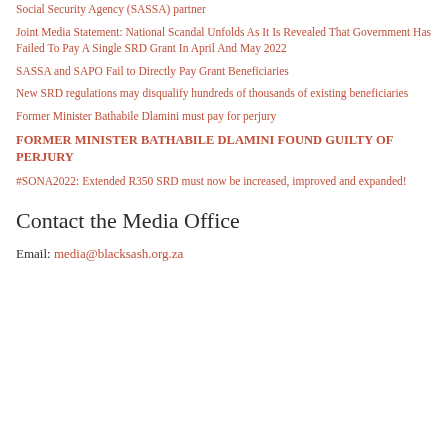Social Security Agency (SASSA) partner
Joint Media Statement: National Scandal Unfolds As It Is Revealed That Government Has Failed To Pay A Single SRD Grant In April And May 2022
SASSA and SAPO Fail to Directly Pay Grant Beneficiaries
New SRD regulations may disqualify hundreds of thousands of existing beneficiaries
Former Minister Bathabile Dlamini must pay for perjury
FORMER MINISTER BATHABILE DLAMINI FOUND GUILTY OF PERJURY
#SONA2022: Extended R350 SRD must now be increased, improved and expanded!
Contact the Media Office
Email: media@blacksash.org.za